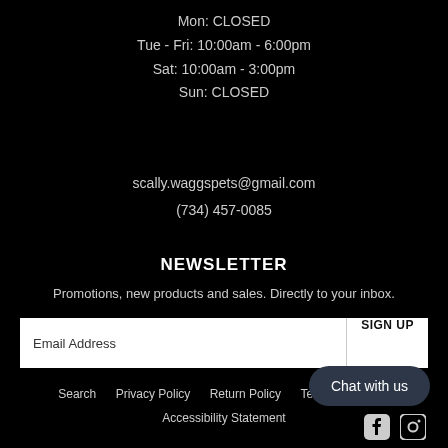Mon: CLOSED
Tue - Fri: 10:00am - 6:00pm
Sat: 10:00am - 3:00pm
Sun: CLOSED
scally.waggspets@gmail.com
(734) 457-0085
NEWSLETTER
Promotions, new products and sales. Directly to your inbox.
Email Address  SIGN UP
Search   Privacy Policy   Return Policy   Terms of Service   Accessibility Statement
Chat with us